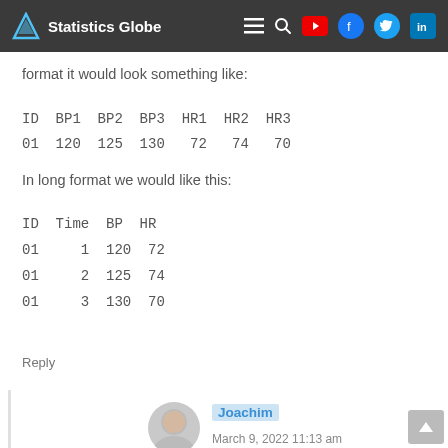Statistics Globe
format it would look something like:
ID BP1 BP2 BP3 HR1 HR2 HR3
01 120 125 130 72 74 70
In long format we would like this:
ID Time BP HR
01 1 120 72
01 2 125 74
01 3 130 70
Reply
Joachim
March 9, 2022 11:13 am